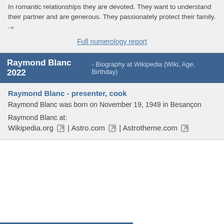In romantic relationships they are devoted. They want to understand their partner and are generous. They passionately protect their family. -»
Full numerology report
Raymond Blanc 2022 - Biography at Wikipedia (Wiki, Age, Birthday)
Raymond Blanc - presenter, cook
Raymond Blanc was born on November 19, 1949 in Besançon
Raymond Blanc at:
Wikipedia.org | Astro.com | Astrotheme.com
Raymond Blanc